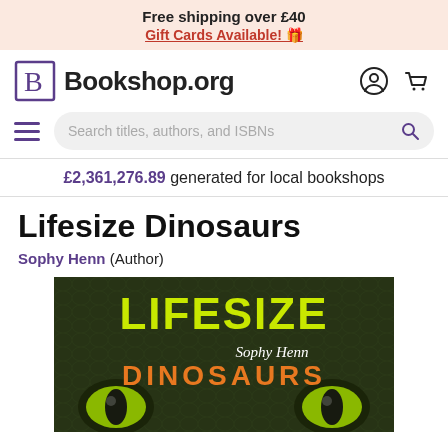Free shipping over £40
Gift Cards Available! 🎁
Bookshop.org
Search titles, authors, and ISBNs
£2,361,276.89 generated for local bookshops
Lifesize Dinosaurs
Sophy Henn (Author)
[Figure (photo): Book cover of 'Lifesize Dinosaurs' by Sophy Henn showing a close-up of a dinosaur face with yellow-green eyes and scaly skin, with text 'LIFESIZE' in large yellow-green letters, 'DINOSAURS' in orange, and 'Sophy Henn' in handwritten white script.]